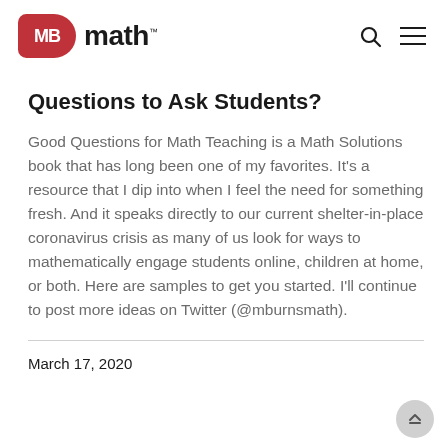MB math™
Questions to Ask Students?
Good Questions for Math Teaching is a Math Solutions book that has long been one of my favorites. It's a resource that I dip into when I feel the need for something fresh. And it speaks directly to our current shelter-in-place coronavirus crisis as many of us look for ways to mathematically engage students online, children at home, or both. Here are samples to get you started. I'll continue to post more ideas on Twitter (@mburnsmath).
March 17, 2020